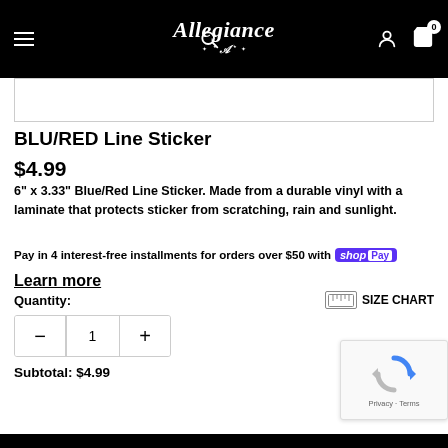[Figure (screenshot): E-commerce website navbar with hamburger menu, search icon, Allegiance brand logo in white script on black background, user account icon, and shopping cart icon with badge showing 0]
[Figure (other): Product image placeholder area (white/bordered region, partially visible)]
BLU/RED Line Sticker
$4.99
6" x 3.33" Blue/Red Line Sticker. Made from a durable vinyl with a laminate that protects sticker from scratching, rain and sunlight.
Pay in 4 interest-free installments for orders over $50 with shop Pay
Learn more
Quantity:
SIZE CHART
1
Subtotal:  $4.99
[Figure (other): reCAPTCHA widget overlay showing rotating arrow logo and 'Privacy - Terms' text]